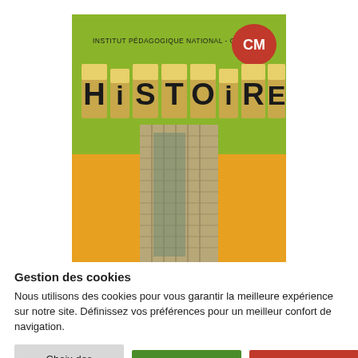[Figure (illustration): Book cover for 'Histoire CM' published by Institut Pédagogique National - Gabon. Green and orange background with large wooden letter tiles spelling HISTOIRE and a photograph of a modern skyscraper. Red oval badge with 'CM' in white text in the upper right corner.]
Gestion des cookies
Nous utilisons des cookies pour vous garantir la meilleure expérience sur notre site. Définissez vos préférences pour un meilleur confort de navigation.
Choix des cookies
Tout accepter
Tout refuser